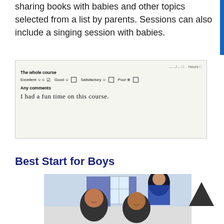sharing books with babies and other topics selected from a list by parents. Sessions can also include a singing session with babies.
[Figure (photo): Photograph of a handwritten course feedback form. The form shows 'The whole course' section with rating options: Excellent (checked), Good, Satisfactory, Poor. Under 'Any comments' it reads: 'I had a fun time on this course.']
Best Start for Boys
[Figure (photo): Photograph of two young boys smiling at the camera in a classroom setting, with a woman wearing a blue hijab smiling in the background.]